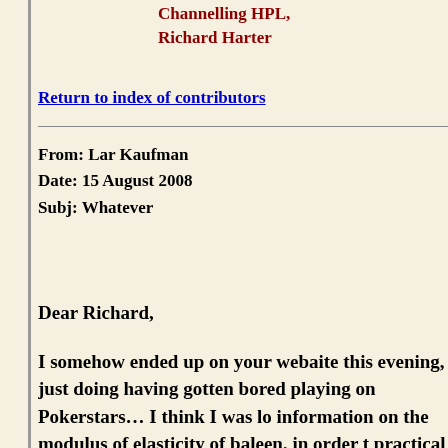Channelling HPL,
Richard Harter
Return to index of contributors
From: Lar Kaufman
Date: 15 August 2008
Subj: Whatever
Dear Richard,
I somehow ended up on your webaite this evening, just doing having gotten bored playing on Pokerstars… I think I was lo information on the modulus of elasticity of baleen, in order t practical utility as a construction material for crossbows to b environment…. I don't think I actually discovered why goog of your webpages, but I was delighted to find a number of we least loosely parallel (on average) aspects and shared interes and serandipities in the course of our disparate lives… And s
We do seem to have a lot of those things in our dispara greatly appreciate hearing from you. It is always a plea correspondence from people who are sane, sensible, an Almost all of my correspondents are, of course, but the exceptions. For example there is the chap who took exc